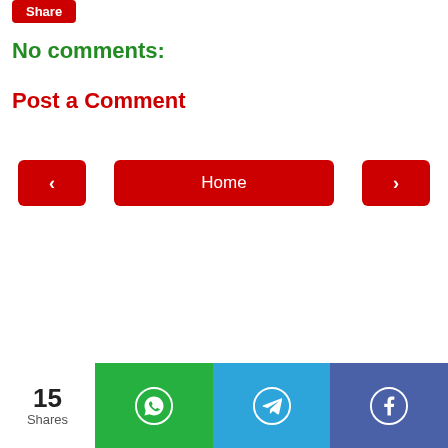Share
No comments:
Post a Comment
[Figure (other): Navigation buttons: left arrow, Home button, right arrow]
[Figure (infographic): Bottom share bar: 15 Shares, WhatsApp, Telegram, Facebook buttons]